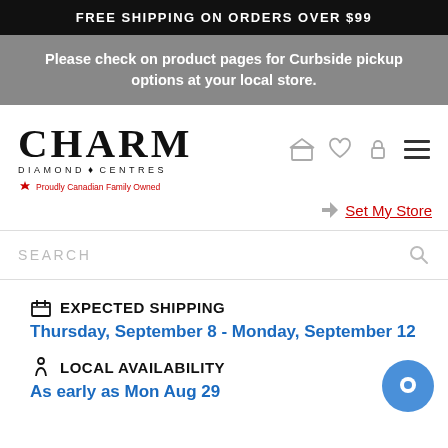FREE SHIPPING ON ORDERS OVER $99
Please check on product pages for Curbside pickup options at your local store.
[Figure (logo): Charm Diamond Centres logo with text 'Proudly Canadian Family Owned']
Set My Store
SEARCH
EXPECTED SHIPPING
Thursday, September 8 - Monday, September 12
LOCAL AVAILABILITY
As early as Mon Aug 29